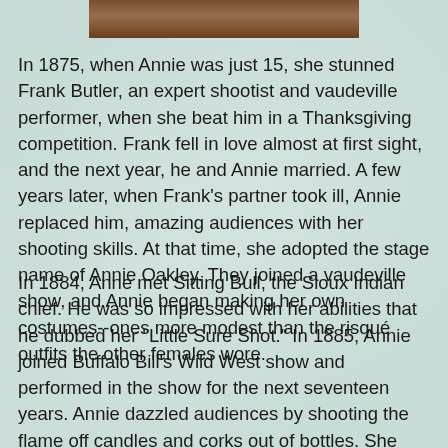[Figure (photo): Partial photo visible at top of page, cropped brown/warm tones]
In 1875, when Annie was just 15, she stunned Frank Butler, an expert shootist and vaudeville performer, when she beat him in a Thanksgiving competition. Frank fell in love almost at first sight, and the next year, he and Annie married. A few years later, when Frank's partner took ill, Annie replaced him, amazing audiences with her shooting skills. At that time, she adopted the stage name of Annie Oakley. They joined a vaudeville show, and Annie began making her own costumes--ones more modest than the risqué outfits the other females wore.
In 1884, Anne met Sitting Bull, the Sioux Indian chief. He was so impressed with her abilities that he dubbed her "Little Sure Shot." In 1885, Annie joined Buffalo Bill's Wild West show and performed in the show for the next seventeen years. Annie dazzled audiences by shooting the flame off candles and corks out of bottles. She even shot off the end of a cigarette that her husband held in his teeth. Talk about trusting your wife! Annie could shoot distant targets while